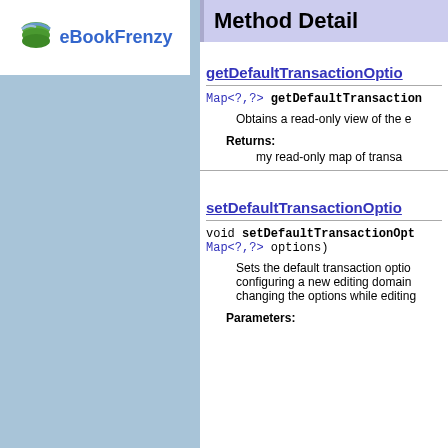[Figure (logo): eBookFrenzy logo with green and blue icon and text]
Method Detail
getDefaultTransactionOptio...
Map<?,?> getDefaultTransaction...
Obtains a read-only view of the e...
Returns:
my read-only map of transa...
setDefaultTransactionOptio...
void setDefaultTransactionOpt...
Map<?,?> options)
Sets the default transaction optio... configuring a new editing domain... changing the options while editing...
Parameters: